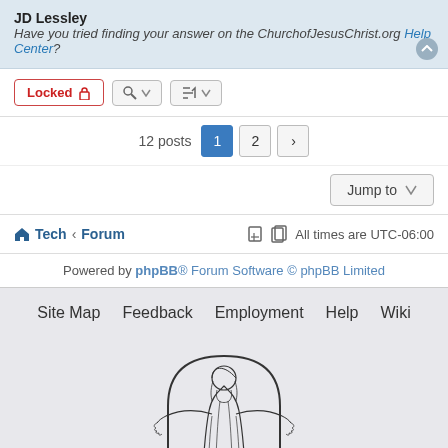JD Lessley
Have you tried finding your answer on the ChurchofJesusChrist.org Help Center?
Locked | [wrench dropdown] | [sort dropdown]
12 posts  1  2  >
Jump to
Tech ‹ Forum    All times are UTC-06:00
Powered by phpBB® Forum Software © phpBB Limited
Site Map   Feedback   Employment   Help   Wiki
[Figure (illustration): Line drawing illustration of Jesus Christ standing with arms outstretched in a welcoming pose, shown within an arched frame]